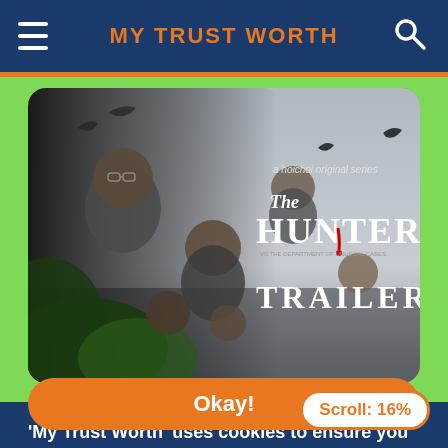MY TRUST WORTH
[Figure (photo): Movie trailer thumbnail for 'The Hunter' - a hoichoi original series, showing multiple cast members with dramatic lighting and the text 'The HUNTER TRAILER']
Scroll: 16%
'My Trust Worth' uses cookies to ensure you get the best experience on our website.
Okay!